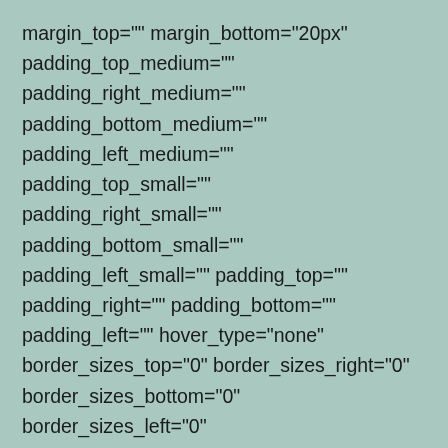margin_top="" margin_bottom="20px" padding_top_medium="" padding_right_medium="" padding_bottom_medium="" padding_left_medium="" padding_top_small="" padding_right_small="" padding_bottom_small="" padding_left_small="" padding_top="" padding_right="" padding_bottom="" padding_left="" hover_type="none" border_sizes_top="0" border_sizes_right="0" border_sizes_bottom="0" border_sizes_left="0" border_color="" hue="" saturation=""